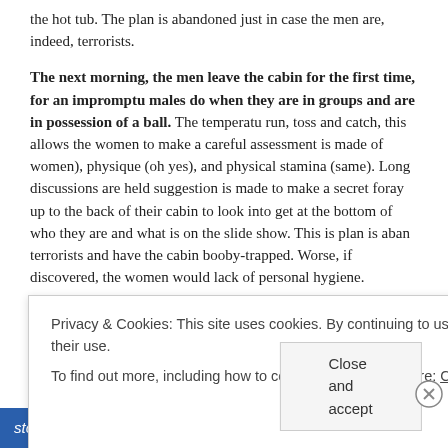the hot tub. The plan is abandoned just in case the men are, indeed, terrorists.
The next morning, the men leave the cabin for the first time, for an impromptu males do when they are in groups and are in possession of a ball. The temperature run, toss and catch, this allows the women to make a careful assessment is made of women), physique (oh yes), and physical stamina (same). Long discussions are held suggestion is made to make a secret foray up to the back of their cabin to look into get at the bottom of who they are and what is on the slide show. This is plan is abandoned terrorists and have the cabin booby-trapped. Worse, if discovered, the women would lack of personal hygiene.
The women take occasional surveillance breaks throughout the weekend to visit shop, eat, and lounge on the terrace of a just-opened ultra-luxury hotel and spa. (LE more features than the Red Roof Inn, of which she and Now Husband are aficionados...
me to watch the men, who are a
nouses and other friends as
Privacy & Cookies: This site uses cookies. By continuing to use this website, you agree to their use.
To find out more, including how to control cookies, see here: Cookie Policy
Close and accept
stories.
THE APP